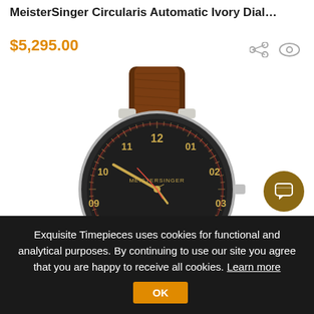MeisterSinger Circularis Automatic Ivory Dial…
$5,295.00
[Figure (photo): MeisterSinger Circularis automatic watch with dark dial, gold hour markers and single hand, displayed with brown leather strap. Watch shows numbers 08 through 04 around the dial and MeisterSinger branding in the center.]
Exquisite Timepieces uses cookies for functional and analytical purposes. By continuing to use our site you agree that you are happy to receive all cookies. Learn more  OK